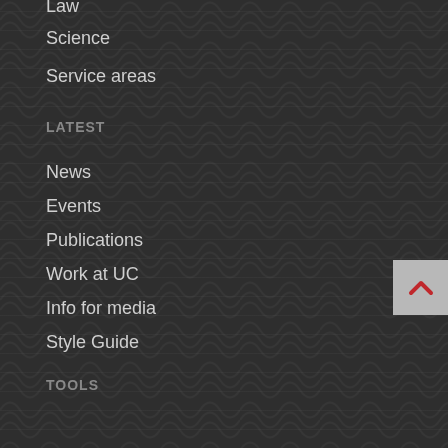Law
Science
Service areas
LATEST
News
Events
Publications
Work at UC
Info for media
Style Guide
TOOLS
LEARN
UC Policy Library
Library
myUC